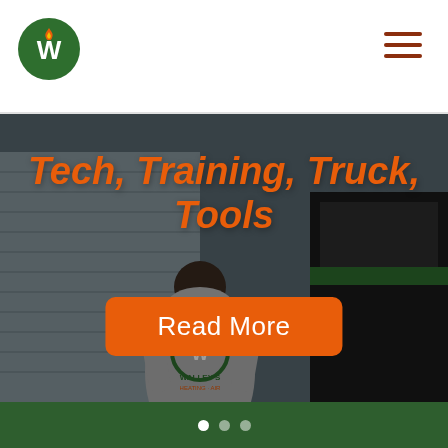[Figure (logo): Walley's logo: white W with flame on green circle background]
[Figure (other): Hamburger menu icon with three horizontal dark red lines]
[Figure (photo): Photo of a technician in a Walley's Heating & Air branded gray hoodie, viewed from behind, approaching a service truck]
Tech, Training, Truck, Tools
Read More
[Figure (other): Carousel dot indicator at bottom of page]